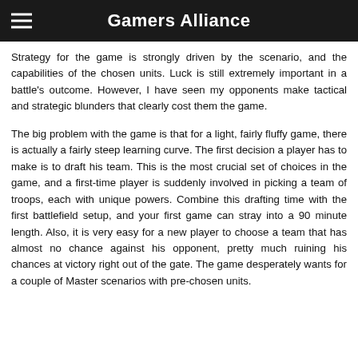Gamers Alliance
Strategy for the game is strongly driven by the scenario, and the capabilities of the chosen units. Luck is still extremely important in a battle's outcome. However, I have seen my opponents make tactical and strategic blunders that clearly cost them the game.
The big problem with the game is that for a light, fairly fluffy game, there is actually a fairly steep learning curve. The first decision a player has to make is to draft his team. This is the most crucial set of choices in the game, and a first-time player is suddenly involved in picking a team of troops, each with unique powers. Combine this drafting time with the first battlefield setup, and your first game can stray into a 90 minute length. Also, it is very easy for a new player to choose a team that has almost no chance against his opponent, pretty much ruining his chances at victory right out of the gate. The game desperately wants for a couple of Master scenarios with pre-chosen units.